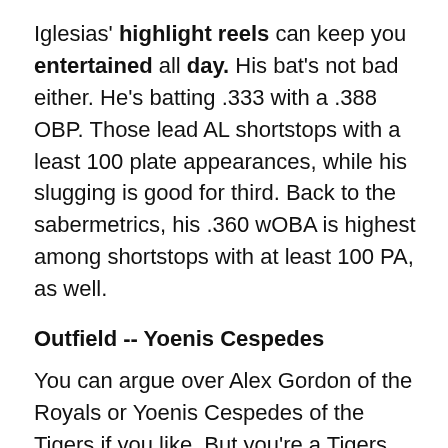Iglesias' highlight reels can keep you entertained all day. His bat's not bad either. He's batting .333 with a .388 OBP. Those lead AL shortstops with a least 100 plate appearances, while his slugging is good for third. Back to the sabermetrics, his .360 wOBA is highest among shortstops with at least 100 PA, as well.
Outfield -- Yoenis Cespedes
You can argue over Alex Gordon of the Royals or Yoenis Cespedes of the Tigers if you like. But you're a Tigers fan, why would you argue for a Royal? Cespedes and Gordon both have 1.5 WAR. Cespedes has a higher batting average too, but Gordon's got him beat in OBP, slugging and wOBA. Cespedes battles back in being the better defender and baserunner. Plus he's back-to-back champ of the Home Run Derby. So what's not to love?